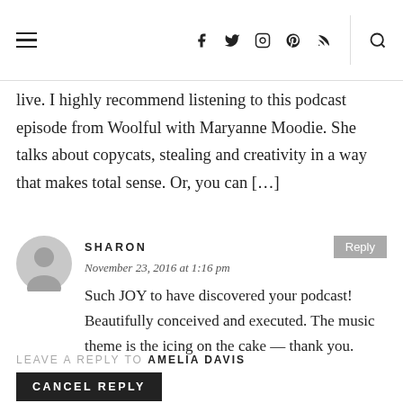Navigation bar with menu icon, social icons (Facebook, Twitter, Instagram, Pinterest, RSS), and search icon
live. I highly recommend listening to this podcast episode from Woolful with Maryanne Moodie. She talks about copycats, stealing and creativity in a way that makes total sense. Or, you can […]
SHARON
November 23, 2016 at 1:16 pm
Such JOY to have discovered your podcast! Beautifully conceived and executed. The music theme is the icing on the cake — thank you.
LEAVE A REPLY TO AMELIA DAVIS
CANCEL REPLY